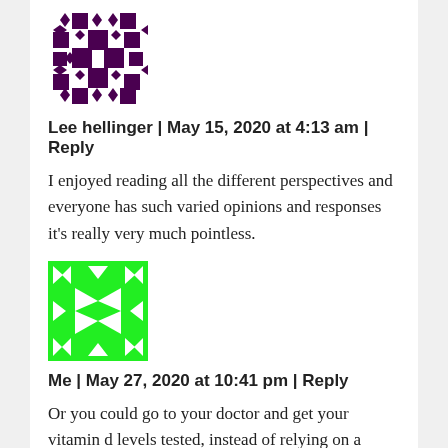[Figure (illustration): Dark purple/maroon patterned avatar image with geometric diamond and cross patterns]
Lee hellinger | May 15, 2020 at 4:13 am | Reply
I enjoyed reading all the different perspectives and everyone has such varied opinions and responses it’s really very much pointless.
[Figure (illustration): Bright green patterned avatar image with geometric bow-tie and cross patterns]
Me | May 27, 2020 at 10:41 pm | Reply
Or you could go to your doctor and get your vitamin d levels tested, instead of relying on a voodoo method like looking for a black spot on your skin from cheap